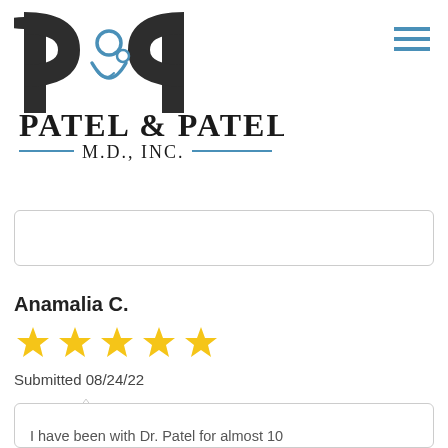[Figure (logo): Patel & Patel M.D., Inc. logo — two letter P shapes in dark charcoal/black with a blue mother-and-child silhouette, and text PATEL & PATEL M.D., INC. below with blue decorative lines]
[Figure (other): Hamburger menu icon — three horizontal blue lines in top right corner]
[Figure (other): Empty search/input box with rounded border]
Anamalia C.
[Figure (other): 5 gold/yellow star rating]
Submitted 08/24/22
I have been with Dr. Patel for almost 10